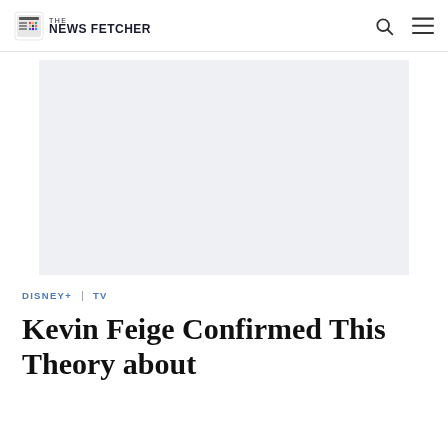THE NEWS FETCHER
[Figure (other): Advertisement banner placeholder area with light grey background]
DISNEY+ | TV
Kevin Feige Confirmed This Theory about